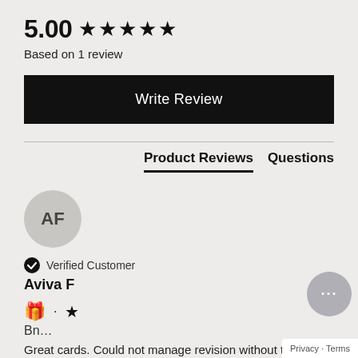5.00 ★★★★★
Based on 1 review
Write Review
Product Reviews   Questions
[Figure (illustration): User avatar circle with initials AF]
✔ Verified Customer
Aviva F
🎁 ★
Bn...
Great cards. Could not manage revision without them.